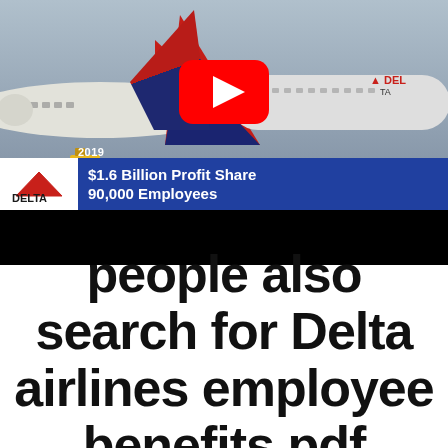[Figure (screenshot): YouTube video thumbnail showing Delta Air Lines aircraft on tarmac with play button overlay. News chyron reads '2019 / DELTA / $1.6 Billion Profit Share / 90,000 Employees']
people also search for Delta airlines employee benefits pdf